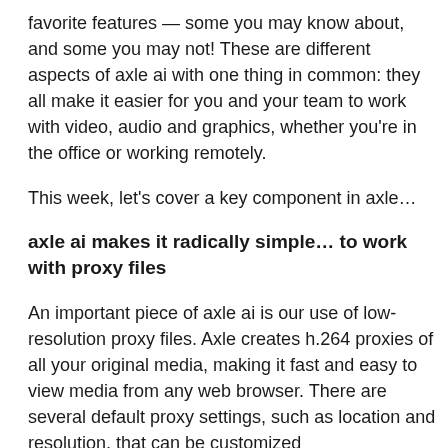favorite features — some you may know about, and some you may not! These are different aspects of axle ai with one thing in common: they all make it easier for you and your team to work with video, audio and graphics, whether you're in the office or working remotely.
This week, let's cover a key component in axle…
axle ai makes it radically simple… to work with proxy files
An important piece of axle ai is our use of low-resolution proxy files. Axle creates h.264 proxies of all your original media, making it fast and easy to view media from any web browser. There are several default proxy settings, such as location and resolution, that can be customized